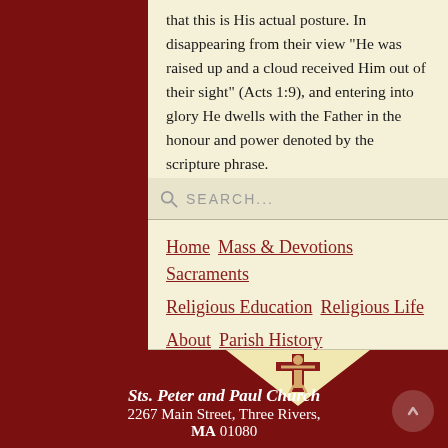that this is His actual posture. In disappearing from their view "He was raised up and a cloud received Him out of their sight" (Acts 1:9), and entering into glory He dwells with the Father in the honour and power denoted by the scripture phrase.
SEARCH...
Home
Mass & Devotions
Sacraments
Religious Education
Religious Life
About
Parish History
[Figure (illustration): Crucifix on a cream/yellow downward-pointing triangle against dark red background]
Sts. Peter and Paul Church
2267 Main Street, Three Rivers,
MA 01080